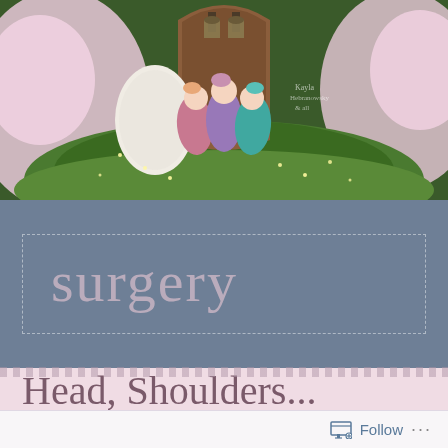[Figure (photo): Three newborn babies wrapped in pink, purple, and teal swaddles posed in a fairy-tale style setting with a wooden door, lanterns, moss, and surrounding pink flowers. The scene appears to be a professional newborn photography composite.]
surgery
Head, Shoulders... Eyes & Ears!
Follow ...